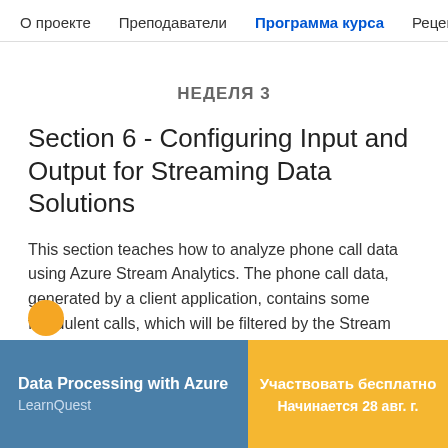О проекте   Преподаватели   Программа курса   Рецен:
НЕДЕЛЯ 3
Section 6 - Configuring Input and Output for Streaming Data Solutions
This section teaches how to analyze phone call data using Azure Stream Analytics. The phone call data, generated by a client application, contains some fraudulent calls, which will be filtered by the Stream Analytics job.
Data Processing with Azure
LearnQuest
Участвовать бесплатно
Начинается 28 авг. г.